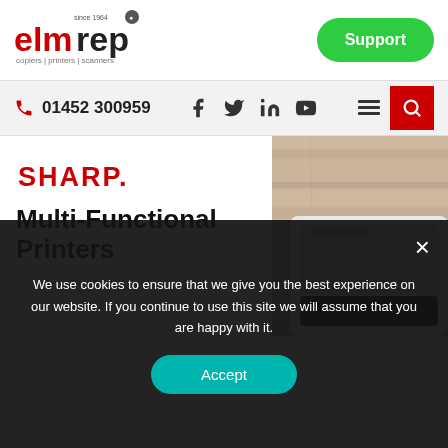[Figure (logo): elmrep logo - red and black text with tagline: copiers | printers | scanners]
Support
01452 300959
[Figure (illustration): Wood texture background hero image with plant and Sharp printer]
SHARP.
Multi-Functional Printers
We use cookies to ensure that we give you the best experience on our website. If you continue to use this site we will assume that you are happy with it.
Accept